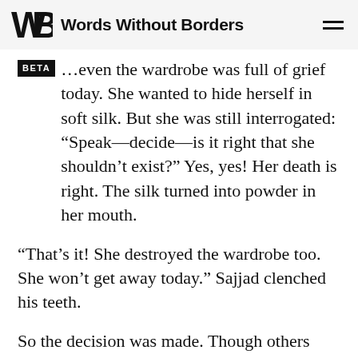Words Without Borders
...even the wardrobe was full of grief today. She wanted to hide herself in soft silk. But she was still interrogated: “Speak—decide—is it right that she shouldn’t exist?” Yes, yes! Her death is right. The silk turned into powder in her mouth.
“That’s it! She destroyed the wardrobe too. She won’t get away today.” Sajjad clenched his teeth.
So the decision was made. Though others made the decision for you. No, you made it yourself. Because such a useless, ugly, revolting, and disgusting thing shouldn’t exist. Her death is right. Exactly right.